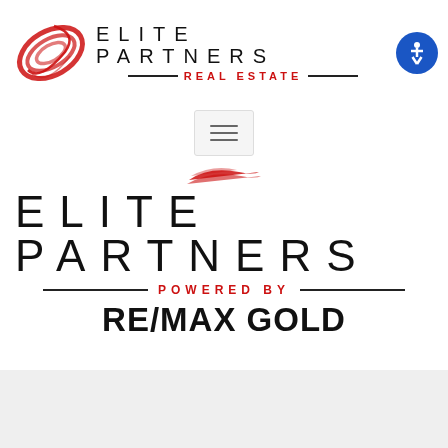[Figure (logo): Elite Partners Real Estate logo with red swirl icon and text header with accessibility button]
[Figure (other): Hamburger menu button (three horizontal lines) in a rounded rectangle]
[Figure (logo): Small red Elite Partners swoosh/feather logo mark]
[Figure (logo): Elite Partners Powered by RE/MAX GOLD large main logo]